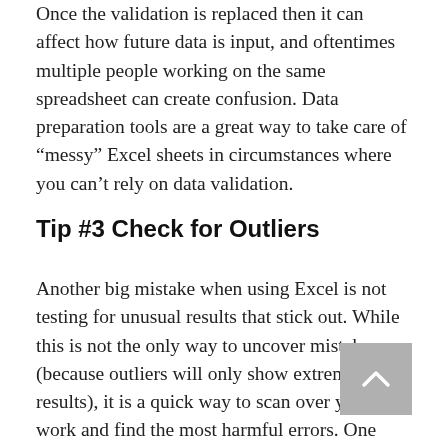Once the validation is replaced then it can affect how future data is input, and oftentimes multiple people working on the same spreadsheet can create confusion. Data preparation tools are a great way to take care of “messy” Excel sheets in circumstances where you can’t rely on data validation.
Tip #3 Check for Outliers
Another big mistake when using Excel is not testing for unusual results that stick out. While this is not the only way to uncover mistakes (because outliers will only show extreme results), it is a quick way to scan over your work and find the most harmful errors. One way to do this is by using